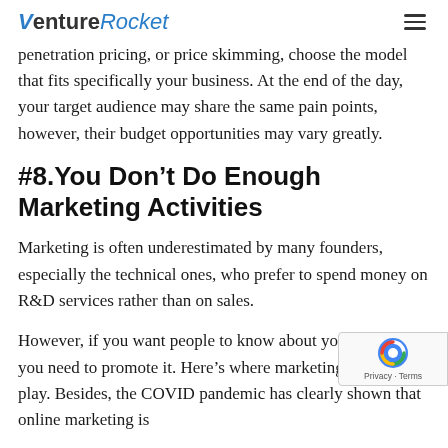VentureRocket
penetration pricing, or price skimming, choose the model that fits specifically your business. At the end of the day, your target audience may share the same pain points, however, their budget opportunities may vary greatly.
#8.You Don’t Do Enough Marketing Activities
Marketing is often underestimated by many founders, especially the technical ones, who prefer to spend money on R&D services rather than on sales.
However, if you want people to know about your product, you need to promote it. Here’s where marketing comes into play. Besides, the COVID pandemic has clearly shown that online marketing is